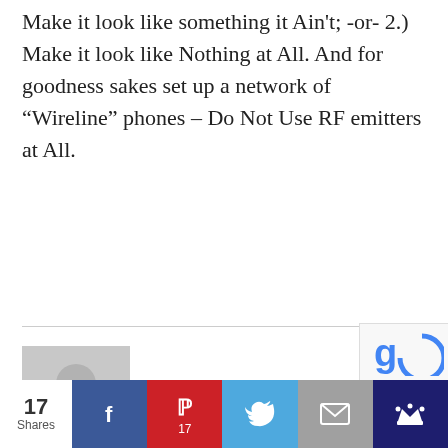Make it look like something it Ain't; -or- 2.) Make it look like Nothing at All. And for goodness sakes set up a network of “Wireline” phones – Do Not Use RF emitters at All.
[Figure (illustration): Default user avatar placeholder - grey square with silhouette of a person (head circle and body arc) in lighter grey]
Larry | January 5, 2019  Reply
Always camouflage the entrance hatch of
[Figure (screenshot): Social share bar at bottom with share count (17 Shares), Facebook, Pinterest (17), Twitter, Email, and King buttons]
[Figure (logo): reCAPTCHA badge overlay in bottom right corner showing blue 'g' logo]